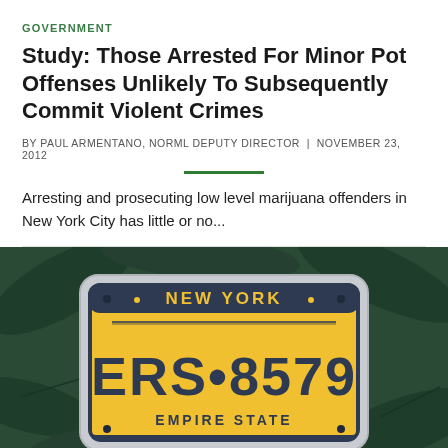GOVERNMENT
Study: Those Arrested For Minor Pot Offenses Unlikely To Subsequently Commit Violent Crimes
BY PAUL ARMENTANO, NORML DEPUTY DIRECTOR  |  NOVEMBER 23, 2012
Arresting and prosecuting low level marijuana offenders in New York City has little or no...
[Figure (photo): New York license plate reading 'ERS 8579 EMPIRE STATE' set against a background of green marijuana leaves]